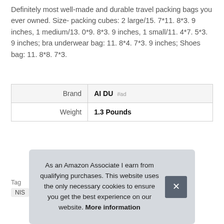Definitely most well-made and durable travel packing bags you ever owned. Size- packing cubes: 2 large/15. 7*11. 8*3. 9 inches, 1 medium/13. 0*9. 8*3. 9 inches, 1 small/11. 4*7. 5*3. 9 inches; bra underwear bag: 11. 8*4. 7*3. 9 inches; Shoes bag: 11. 8*8. 7*3.
|  |  |
| --- | --- |
| Brand | AI DU #ad |
| Weight | 1.3 Pounds |
More information #ad
As an Amazon Associate I earn from qualifying purchases. This website uses the only necessary cookies to ensure you get the best experience on our website. More information